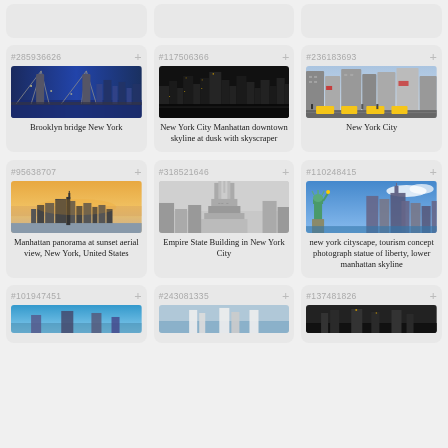[Figure (screenshot): Stock photo search interface showing a 3-column grid of image cards. Each card shows a stock ID number, a thumbnail photo, and a description caption.]
#285936626 Brooklyn bridge New York
#117506366 New York City Manhattan downtown skyline at dusk with skyscraper
#236183693 New York City
#95638707 Manhattan panorama at sunset aerial view, New York, United States
#318521646 Empire State Building in New York City
#110248415 new york cityscape, tourism concept photograph statue of liberty, lower manhattan skyline
#101947451
#243081335
#137481826